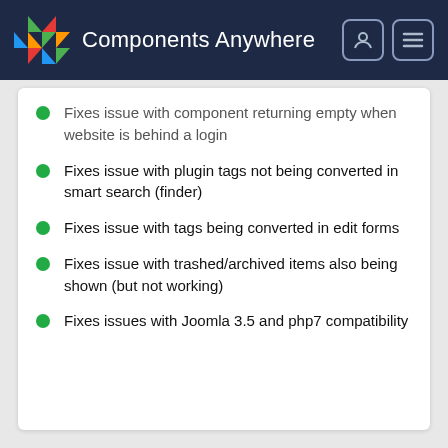Components Anywhere
Fixes issue with component returning empty when website is behind a login
Fixes issue with plugin tags not being converted in smart search (finder)
Fixes issue with tags being converted in edit forms
Fixes issue with trashed/archived items also being shown (but not working)
Fixes issues with Joomla 3.5 and php7 compatibility